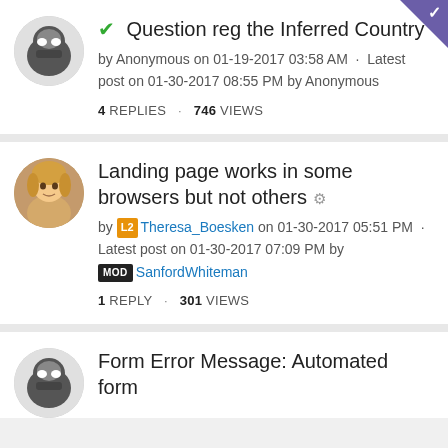Question reg the Inferred Country
by Anonymous on 01-19-2017 03:58 AM · Latest post on 01-30-2017 08:55 PM by Anonymous
4 REPLIES · 746 VIEWS
Landing page works in some browsers but not others
by Theresa_Boesken on 01-30-2017 05:51 PM · Latest post on 01-30-2017 07:09 PM by SanfordWhiteman
1 REPLY · 301 VIEWS
Form Error Message: Automated form